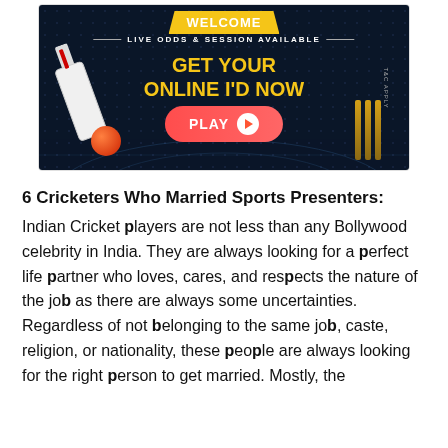[Figure (illustration): Cricket betting advertisement banner with dark navy background, yellow 'WELCOME' text banner at top, 'LIVE ODDS & SESSION AVAILABLE' text, large yellow text 'GET YOUR ONLINE ID NOW', red PLAY button with play icon, cricket bat, red cricket ball, and stumps on the right side. T&C Apply text vertically on right edge.]
6 Cricketers Who Married Sports Presenters:
Indian Cricket players are not less than any Bollywood celebrity in India. They are always looking for a perfect life partner who loves, cares, and respects the nature of the job as there are always some uncertainties. Regardless of not belonging to the same job, caste, religion, or nationality, these people are always looking for the right person to get married. Mostly, the